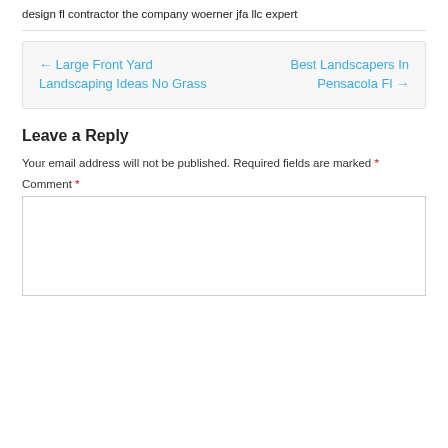design fl contractor the company woerner jfa llc expert
← Large Front Yard Landscaping Ideas No Grass    Best Landscapers In Pensacola Fl →
Leave a Reply
Your email address will not be published. Required fields are marked *
Comment *